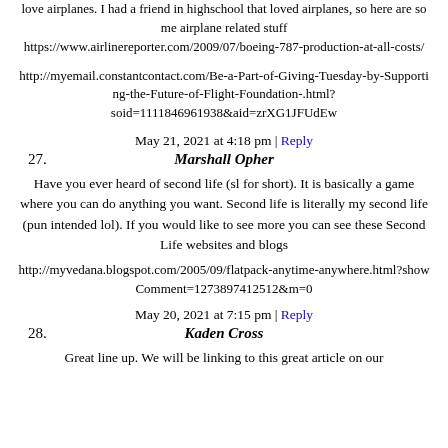love airplanes. I had a friend in highschool that loved airplanes, so here are some airplane related stuff https://www.airlinereporter.com/2009/07/boeing-787-production-at-all-costs/
http://myemail.constantcontact.com/Be-a-Part-of-Giving-Tuesday-by-Supporting-the-Future-of-Flight-Foundation-.html?soid=1111846961938&aid=zrXG1JFUdEw
May 21, 2021 at 4:18 pm | Reply
27. Marshall Opher
Have you ever heard of second life (sl for short). It is basically a game where you can do anything you want. Second life is literally my second life (pun intended lol). If you would like to see more you can see these Second Life websites and blogs
http://myvedana.blogspot.com/2005/09/flatpack-anytime-anywhere.html?showComment=1273897412512&m=0
May 20, 2021 at 7:15 pm | Reply
28. Kaden Cross
Great line up. We will be linking to this great article on our